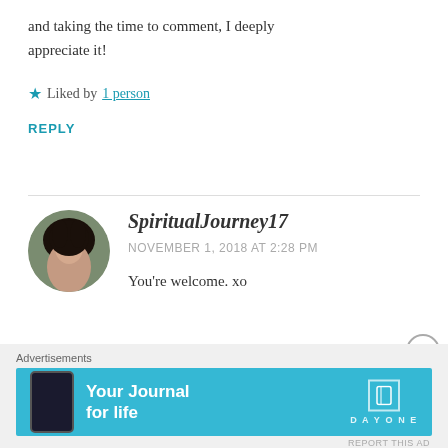and taking the time to comment, I deeply appreciate it!
★ Liked by 1 person
REPLY
SpiritualJourney17
NOVEMBER 1, 2018 AT 2:28 PM
You're welcome. xo
[Figure (photo): Circular avatar photo of a dark-haired woman]
Advertisements
[Figure (infographic): Day One app advertisement banner - Your Journal for life]